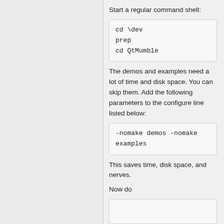Start a regular command shell:
cd \dev
prep
cd QtMumble
The demos and examples need a lot of time and disk space. You can skip them. Add the following parameters to the configure line listed below:
-nomake demos -nomake examples
This saves time, disk space, and nerves.
Now do